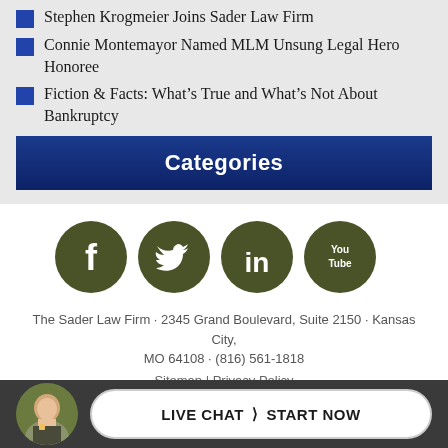Stephen Krogmeier Joins Sader Law Firm
Connie Montemayor Named MLM Unsung Legal Hero Honoree
Fiction & Facts: What’s True and What’s Not About Bankruptcy
Categories
[Figure (infographic): Social media icons: Facebook, Twitter, LinkedIn, YouTube]
The Sader Law Firm · 2345 Grand Boulevard, Suite 2150 · Kansas City, MO 64108 · (816) 561-1818
Sitemap | Privacy Policy
LIVE CHAT › START NOW